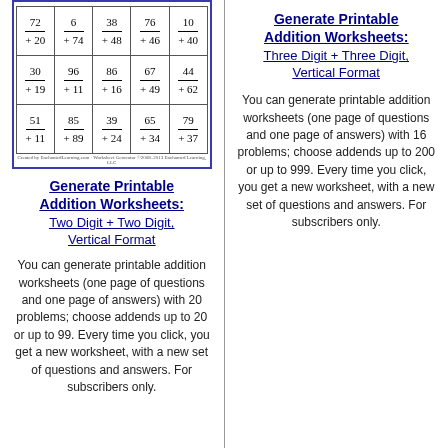[Figure (other): A two-column addition worksheet preview showing 15 two-digit addition problems arranged in a 3×5 grid with answers below each problem, bordered in dark blue.]
Generate Printable Addition Worksheets: Two Digit + Two Digit, Vertical Format
You can generate printable addition worksheets (one page of questions and one page of answers) with 20 problems; choose addends up to 20 or up to 99. Every time you click, you get a new worksheet, with a new set of questions and answers. For subscribers only.
Generate Printable Addition Worksheets: Three Digit + Three Digit, Vertical Format
You can generate printable addition worksheets (one page of questions and one page of answers) with 16 problems; choose addends up to 200 or up to 999. Every time you click, you get a new worksheet, with a new set of questions and answers. For subscribers only.